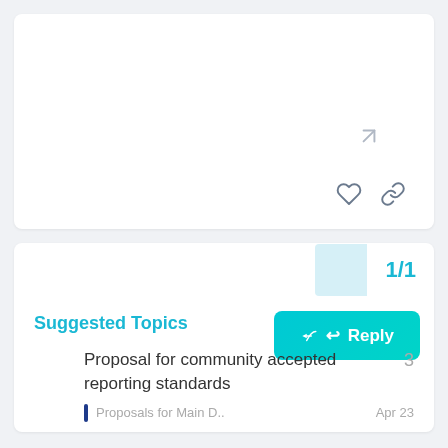[Figure (screenshot): White card area with expand icon and like/link action icons at bottom right]
1/1
Reply
Suggested Topics
Proposal for community accepted reporting standards
3
Proposals for Main D..
Apr 23